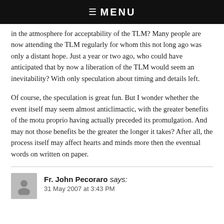☰ MENU
in the atmosphere for acceptability of the TLM? Many people are now attending the TLM regularly for whom this not long ago was only a distant hope. Just a year or two ago, who could have anticipated that by now a liberation of the TLM would seem an inevitability? With only speculation about timing and details left.
Of course, the speculation is great fun. But I wonder whether the event itself may seem almost anticlimactic, with the greater benefits of the motu proprio having actually preceded its promulgation. And may not those benefits be the greater the longer it takes? After all, the process itself may affect hearts and minds more then the eventual words on written on paper.
Fr. John Pecoraro says:
31 May 2007 at 3:43 PM